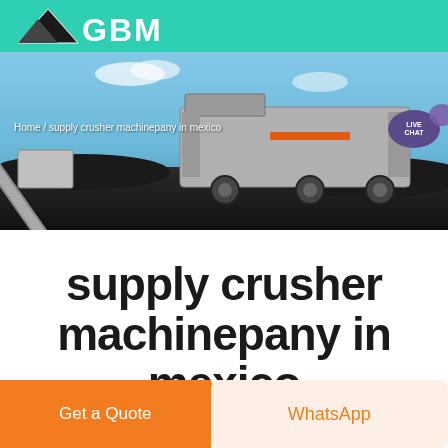GBM
[Figure (photo): Industrial mobile crushing and screening plant machinery on a construction/mining site with conveyor belts, under a blue sky with breadcrumb navigation overlay reading 'Home / supply crusher machinepany in mexico' and a purple Live Chat bubble in the top right]
supply crusher machinepany in mexico
Get a Quote
WhatsApp